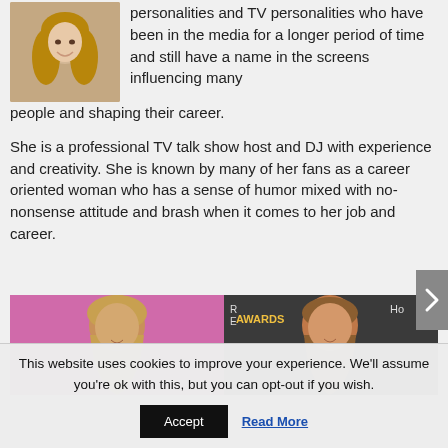[Figure (photo): Headshot photo of a woman with long wavy blonde/brown hair, smiling, wearing earrings, against a neutral background.]
personalities and TV personalities who have been in the media for a longer period of time and still have a name in the screens influencing many people and shaping their career.
She is a professional TV talk show host and DJ with experience and creativity. She is known by many of her fans as a career oriented woman who has a sense of humor mixed with no-nonsense attitude and brash when it comes to her job and career.
[Figure (photo): Two women posing together at what appears to be an awards event with a step-and-repeat banner in the background.]
This website uses cookies to improve your experience. We'll assume you're ok with this, but you can opt-out if you wish.
Accept
Read More